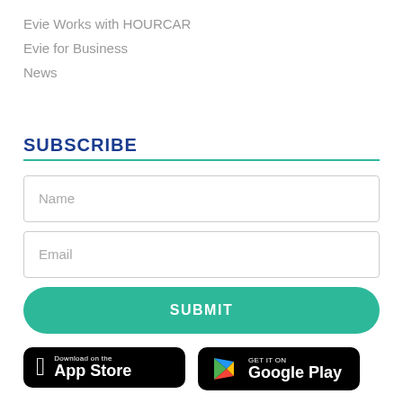Evie Works with HOURCAR
Evie for Business
News
SUBSCRIBE
[Figure (infographic): Subscribe form with Name input field, Email input field, and a teal SUBMIT button]
[Figure (infographic): App store badges: Download on the App Store (Apple) and GET IT ON Google Play]